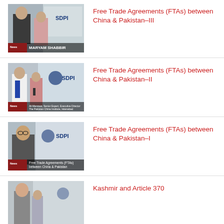[Figure (photo): Video thumbnail showing two people at SDPI event, woman labeled MARYAM SHABBIR]
Free Trade Agreements (FTAs) between China & Pakistan–III
[Figure (photo): Video thumbnail showing man in suit and woman with microphone at SDPI event]
Free Trade Agreements (FTAs) between China & Pakistan–II
[Figure (photo): Video thumbnail showing man with glasses at SDPI event, text 'Free Trade Agreements (FTAs) between China & Pakistan']
Free Trade Agreements (FTAs) between China & Pakistan–I
[Figure (photo): Video thumbnail showing woman at SDPI event]
Kashmir and Article 370